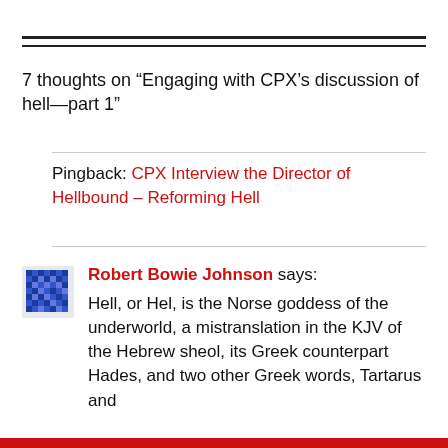7 thoughts on “Engaging with CPX’s discussion of hell—part 1”
Pingback: CPX Interview the Director of Hellbound – Reforming Hell
Robert Bowie Johnson says: Hell, or Hel, is the Norse goddess of the underworld, a mistranslation in the KJV of the Hebrew sheol, its Greek counterpart Hades, and two other Greek words, Tartarus and